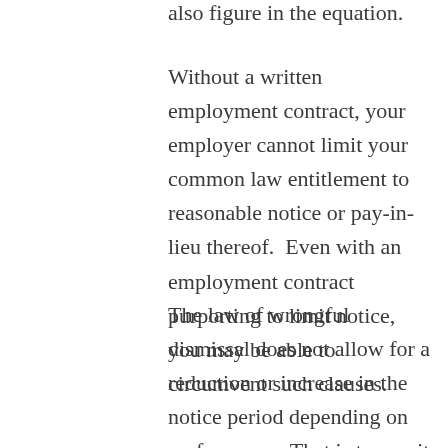also figure in the equation.
Without a written employment contract, your employer cannot limit your common law entitlement to reasonable notice or pay-in-lieu thereof.  Even with an employment contract purporting to limit notice, you may be able to circumvent such clauses.
The law of wrongful dismissal does not allow for a reduction or increase in the notice period depending on performance. That is to say, it is not a valid legal argument for your employer